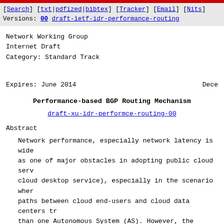[Search] [txt|pdfized|bibtex] [Tracker] [Email] [Nits]
Versions: 00 draft-ietf-idr-performance-routing
Network Working Group
Internet Draft
Category: Standard Track
Expires: June 2014                                            Dece
Performance-based BGP Routing Mechanism
draft-xu-idr-performce-routing-00
Abstract
Network performance, especially network latency is wide as one of major obstacles in adopting public cloud serv cloud desktop service), especially in the scenario wher paths between cloud end-users and cloud data centers tr than one Autonomous System (AS). However, the current B Protocol (BGP) specification [RFC4271] doesn't use netw performance metrics (e.g., network latency) in the rout decisions. This document describes a performance-based mechanism in which network latency metric is taken as o